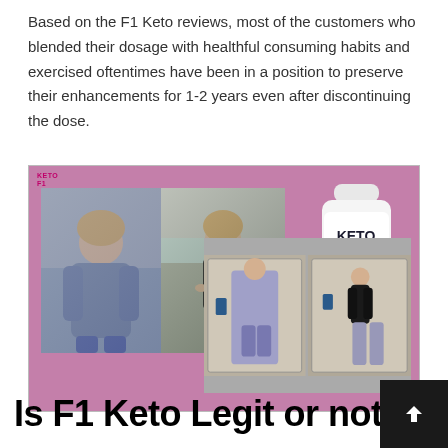Based on the F1 Keto reviews, most of the customers who blended their dosage with healthful consuming habits and exercised oftentimes have been in a position to preserve their enhancements for 1-2 years even after discontinuing the dose.
[Figure (photo): Pink background collage showing before/after weight loss photos of women, plus a Keto F1 supplement bottle in the top right corner and a logo reading KETO F1 in the top left.]
Is F1 Keto Legit or not?